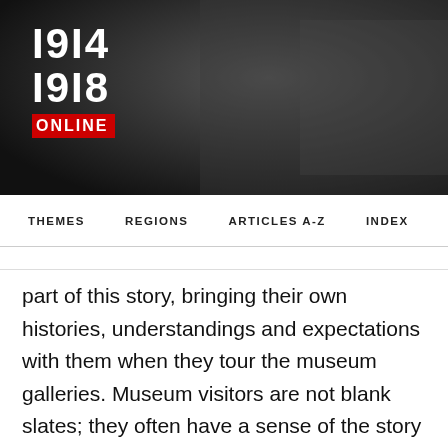[Figure (logo): 1914-1918 Online logo with red ONLINE badge on dark banner background]
THEMES   REGIONS   ARTICLES A-Z   INDEX
part of this story, bringing their own histories, understandings and expectations with them when they tour the museum galleries. Museum visitors are not blank slates; they often have a sense of the story they expect the exhibition to tell. David Cameron's speech tells us something of the ways that the British audience of the early 21st Century understood the war, and the dominant cultural memory of the